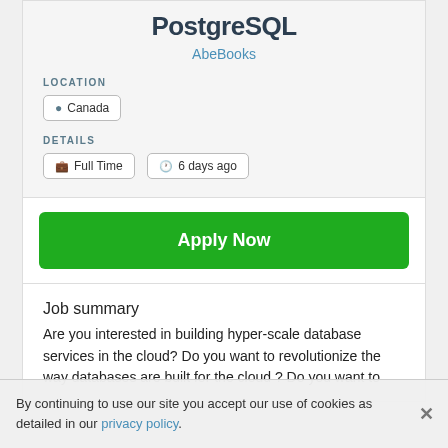PostgreSQL
AbeBooks
LOCATION
Canada
DETAILS
Full Time
6 days ago
Apply Now
Job summary
Are you interested in building hyper-scale database services in the cloud? Do you want to revolutionize the way databases are built for the cloud ? Do you want to
By continuing to use our site you accept our use of cookies as detailed in our privacy policy.